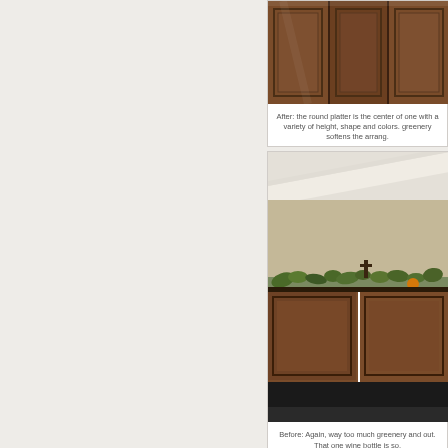[Figure (photo): After photo: dark wood kitchen cabinets, close-up of upper cabinet doors with raised panel detail]
After: the round platter is the center of one with a variety of height, shape and colors. greenery softens the arrang.
[Figure (photo): Before photo: top of dark wood kitchen cabinets with excessive greenery, a figurine, and decorative items; diagonal crown molding visible]
Before: Again, way too much greenery and out. That one wine bottle is so.
[Figure (photo): Partial photo at bottom of page, appears to be another kitchen or interior view]